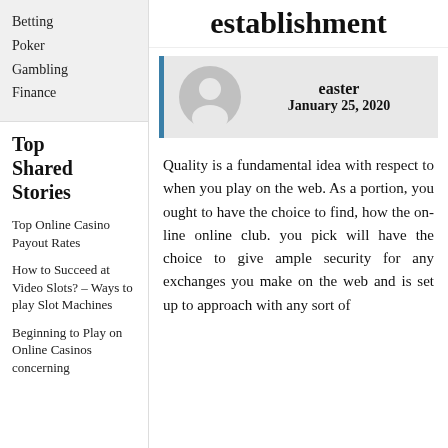Betting
Poker
Gambling
Finance
Top Shared Stories
Top Online Casino Payout Rates
How to Succeed at Video Slots? – Ways to play Slot Machines
Beginning to Play on Online Casinos concerning
establishment
[Figure (illustration): Author avatar placeholder: grey circle with white silhouette of a person on a grey background, with a blue left border]
easter
January 25, 2020
Quality is a fundamental idea with respect to when you play on the web. As a portion, you ought to have the choice to find, how the on-line online club. you pick will have the choice to give ample security for any exchanges you make on the web and is set up to approach with any sort of